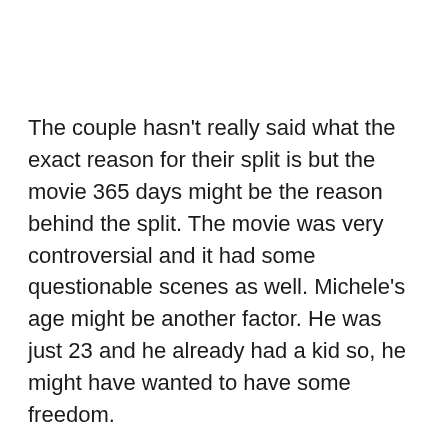The couple hasn't really said what the exact reason for their split is but the movie 365 days might be the reason behind the split. The movie was very controversial and it had some questionable scenes as well. Michele's age might be another factor. He was just 23 and he already had a kid so, he might have wanted to have some freedom.
But even though the two have split, they are still very good friends and have a good